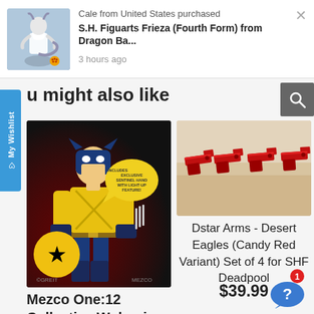[Figure (screenshot): Notification bar showing purchase: Cale from United States purchased S.H. Figuarts Frieza (Fourth Form) from Dragon Ba... 3 hours ago, with product image on left and X close button]
u might also like
[Figure (screenshot): My Wishlist vertical tab on left side]
[Figure (photo): Mezco One:12 Collective Wolverine Deluxe Steel Box Edition from X-Men action figure in yellow and blue costume]
[Figure (photo): Dstar Arms - Desert Eagles (Candy Red Variant) Set of 4 for SHF Deadpool - four red pistols lined up]
Mezco One:12 Collective Wolverine Deluxe Steel Box Edition from X-Men
Dstar Arms - Desert Eagles (Candy Red Variant) Set of 4 for SHF Deadpool
$39.99